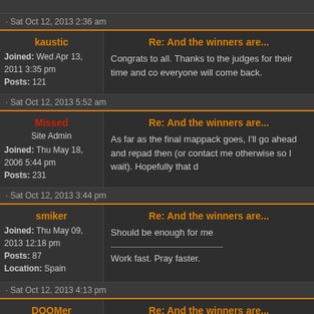Sat Oct 12, 2013 2:36 am
kaustic
Joined: Wed Apr 13, 2011 3:35 pm
Posts: 121
Re: And the winners are...
Congrats to all. Thanks to the judges for their time and co everyone will come back.
Sat Oct 12, 2013 5:52 am
Missed
Site Admin
Joined: Thu May 18, 2006 5:44 pm
Posts: 231
Re: And the winners are...
As far as the final mappack goes, I'll go ahead and repad then (or contact me otherwise so I wait). Hopefully that d
Sat Oct 12, 2013 3:44 pm
smiker
Joined: Thu May 09, 2013 12:18 pm
Posts: 87
Location: Spain
Re: And the winners are...
Should be enough for me
Work fast. Pray faster.
Sat Oct 12, 2013 4:13 pm
DOOMer
Joined: Sat Jun 08, 2013 10:33 am
Re: And the winners are...
Congratulations to winners. And also everyone, who are I'm hoping next year everyone will come back.